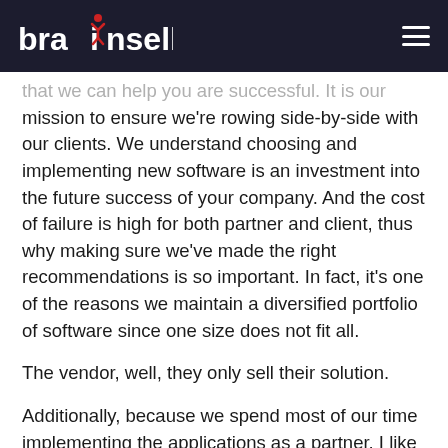brainsell
that we can help you are successful. It is our mission to ensure we're rowing side-by-side with our clients. We understand choosing and implementing new software is an investment into the future success of your company. And the cost of failure is high for both partner and client, thus why making sure we've made the right recommendations is so important. In fact, it's one of the reasons we maintain a diversified portfolio of software since one size does not fit all.
The vendor, well, they only sell their solution.
Additionally, because we spend most of our time implementing the applications as a partner, I like to say we're the boots on the ground.  We've fought the hand-to-hand combat of a project, gone into the ditch and know how hard it is to get out of it. With every implementation, we learn tremendous lessons that allow us to bring